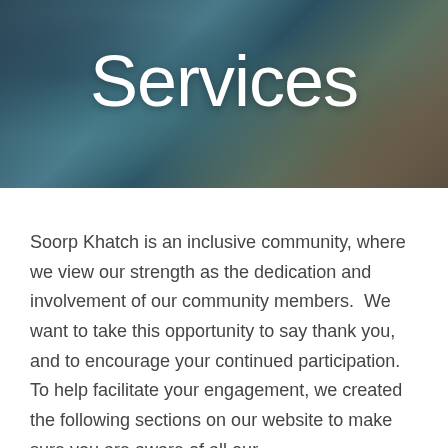[Figure (photo): A dark, blurred background photo with blue and warm brown tones, appearing to show a person or figure in soft focus. The word 'Services' is overlaid in large white bold text.]
Services
Soorp Khatch is an inclusive community, where we view our strength as the dedication and involvement of our community members.  We want to take this opportunity to say thank you, and to encourage your continued participation.  To help facilitate your engagement, we created the following sections on our website to make sure you are aware of all our